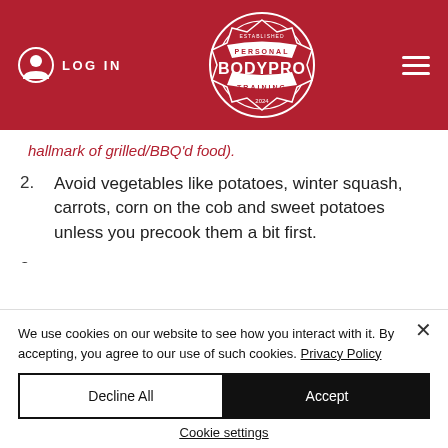LOG IN | BODYPRO Personal Training
hallmark of grilled/BBQ'd food).
2. Avoid vegetables like potatoes, winter squash, carrots, corn on the cob and sweet potatoes unless you precook them a bit first.
3. Don't skip the marinade. It's tempting to skip
We use cookies on our website to see how you interact with it. By accepting, you agree to our use of such cookies. Privacy Policy
Decline All | Accept | Cookie settings